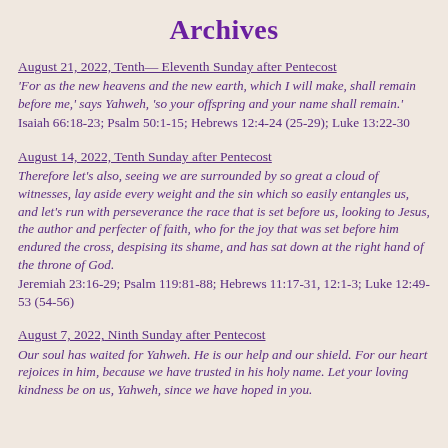Archives
August 21, 2022, Eleventh Sunday after Pentecost
'For as the new heavens and the new earth, which I will make, shall remain before me,' says Yahweh, 'so your offspring and your name shall remain.'
Isaiah 66:18-23; Psalm 50:1-15; Hebrews 12:4-24 (25-29); Luke 13:22-30
August 14, 2022, Tenth Sunday after Pentecost
Therefore let's also, seeing we are surrounded by so great a cloud of witnesses, lay aside every weight and the sin which so easily entangles us, and let's run with perseverance the race that is set before us, looking to Jesus, the author and perfecter of faith, who for the joy that was set before him endured the cross, despising its shame, and has sat down at the right hand of the throne of God.
Jeremiah 23:16-29; Psalm 119:81-88; Hebrews 11:17-31, 12:1-3; Luke 12:49-53 (54-56)
August 7, 2022, Ninth Sunday after Pentecost
Our soul has waited for Yahweh. He is our help and our shield. For our heart rejoices in him, because we have trusted in his holy name. Let your loving kindness be on us, Yahweh, since we have hoped in you.